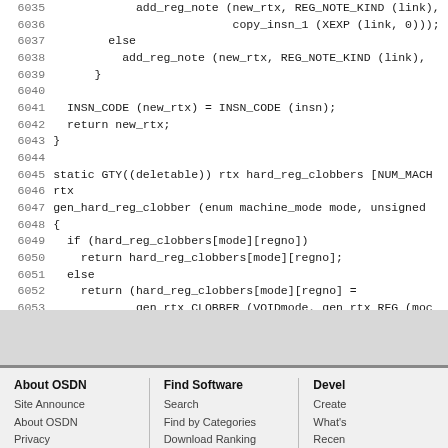Source code listing lines 6035-6056 showing C code for add_reg_note, gen_hard_reg_clobber, and #include gt-emit-rtl.h
About OSDN: Site Announce, About OSDN, Privacy, Terms of Use | Find Software: Search, Find by Categories, Download Ranking, Project Ranking | Devel: Create, What's, Recen, Cham